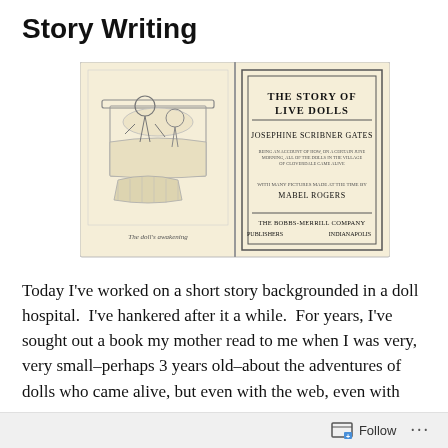Story Writing
[Figure (illustration): Open book showing two pages: left page has a line-drawing illustration of a child and a doll in a bed with caption 'The doll's awakening'; right page shows a title page reading 'THE STORY OF LIVE DOLLS by JOSEPHINE SCRIBNER GATES, with many pictures made at the time by MABEL ROGERS, THE BOBBS-MERRILL COMPANY PUBLISHERS INDIANAPOLIS']
Today I've worked on a short story backgrounded in a doll hospital.  I've hankered after it a while.  For years, I've sought out a book my mother read to me when I was very, very small–perhaps 3 years old–about the adventures of dolls who came alive, but even with the web, even with
Follow ...